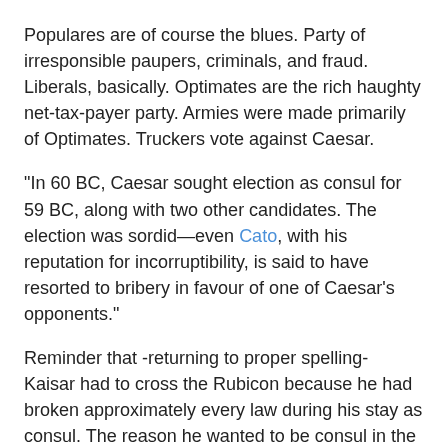Populares are of course the blues. Party of irresponsible paupers, criminals, and fraud. Liberals, basically. Optimates are the rich haughty net-tax-payer party. Armies were made primarily of Optimates. Truckers vote against Caesar.
"In 60 BC, Caesar sought election as consul for 59 BC, along with two other candidates. The election was sordid—even Cato, with his reputation for incorruptibility, is said to have resorted to bribery in favour of one of Caesar's opponents."
Reminder that -returning to proper spelling- Kaisar had to cross the Rubicon because he had broken approximately every law during his stay as consul. The reason he wanted to be consul in the first place was exactly to get away with breaking the law - Roman consuls could not be persecuted for lawbreaking during their tenure. He was none too good at following it even without that protection.
Only there were term limits. Kaisar was not eligible for re-election. If he had crossed into Rome without declaring war, he would have ended up very, very arrested. Had to stage War of American Rebellion, alpha version 0.2 instead.